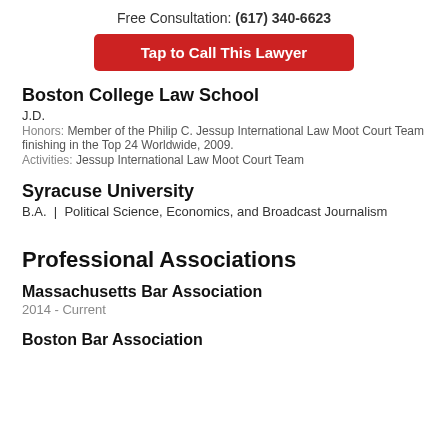Free Consultation: (617) 340-6623
Tap to Call This Lawyer
Boston College Law School
J.D.
Honors: Member of the Philip C. Jessup International Law Moot Court Team finishing in the Top 24 Worldwide, 2009.
Activities: Jessup International Law Moot Court Team
Syracuse University
B.A. | Political Science, Economics, and Broadcast Journalism
Professional Associations
Massachusetts Bar Association
2014 - Current
Boston Bar Association